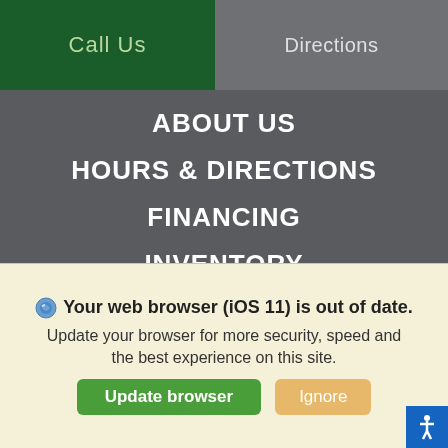Call Us | Directions
ABOUT US
HOURS & DIRECTIONS
FINANCING
INVENTORY
NEW VEHICLES
PRE-OWNED
NEW SPECIALS
PRE-OWNED SPECIALS
SPECIALS
LAND ROVER DEALER
LAND ROVER DEFENDER
LAND ROVER DISCOVERY
LAND ROVER DISCOVERY SPORT
Your web browser (iOS 11) is out of date. Update your browser for more security, speed and the best experience on this site.
Update browser | Ignore